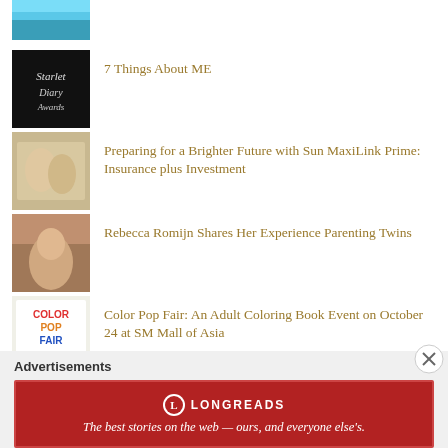[Figure (photo): Thumbnail image - blue tropical water]
7 Things About ME
[Figure (photo): Thumbnail - dark cursive signature]
Preparing for a Brighter Future with Sun MaxiLink Prime: Insurance plus Investment
[Figure (photo): Thumbnail - couple/film scene]
Rebecca Romijn Shares Her Experience Parenting Twins
[Figure (photo): Thumbnail - Color Pop Fair event]
Color Pop Fair: An Adult Coloring Book Event on October 24 at SM Mall of Asia
[Figure (photo): Thumbnail - window frame]
Options for New Windows
Advertisements
Advertisements
[Figure (infographic): Longreads banner ad: The best stories on the web - ours, and everyone else's.]